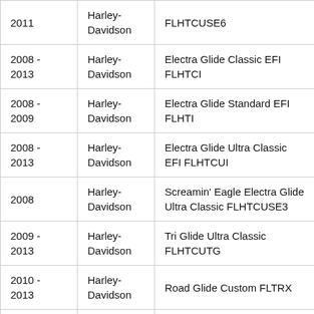| 2011 | Harley-Davidson | FLHTCUSE6 |
| 2008 - 2013 | Harley-Davidson | Electra Glide Classic EFI FLHTCI |
| 2008 - 2009 | Harley-Davidson | Electra Glide Standard EFI FLHTI |
| 2008 - 2013 | Harley-Davidson | Electra Glide Ultra Classic EFI FLHTCUI |
| 2008 | Harley-Davidson | Screamin' Eagle Electra Glide Ultra Classic FLHTCUSE3 |
| 2009 - 2013 | Harley-Davidson | Tri Glide Ultra Classic FLHTCUTG |
| 2010 - 2013 | Harley-Davidson | Road Glide Custom FLTRX |